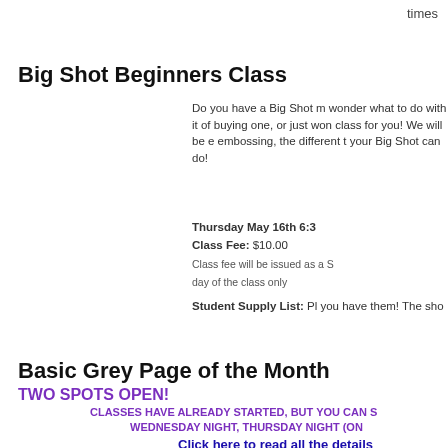times
Big Shot Beginners Class
Do you have a Big Shot m wonder what to do with it of buying one, or just won class for you! We will be e embossing, the different t your Big Shot can do!
Thursday May 16th 6:3
Class Fee: $10.00
Class fee will be issued as a S day of the class only
Student Supply List: Pl you have them! The sho
Basic Grey Page of the Month
TWO SPOTS OPEN!
CLASSES HAVE ALREADY STARTED, BUT YOU CAN S
WEDNESDAY NIGHT, THURSDAY NIGHT (ON
Click here to read all the details
Sunday May 26th 11:30 - 1:30